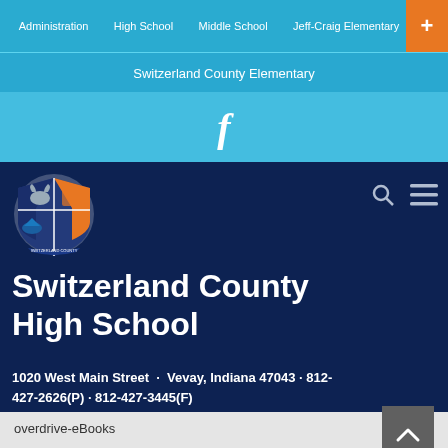Administration | High School | Middle School | Jeff-Craig Elementary | +
Switzerland County Elementary
[Figure (logo): Facebook icon (f) in light blue bar]
[Figure (logo): Switzerland County school crest/shield logo with ram, orange and blue shield, ribbon banner]
Switzerland County High School
1020 West Main Street · Vevay, Indiana 47043 · 812-427-2626(P) · 812-427-3445(F)
overdrive-eBooks